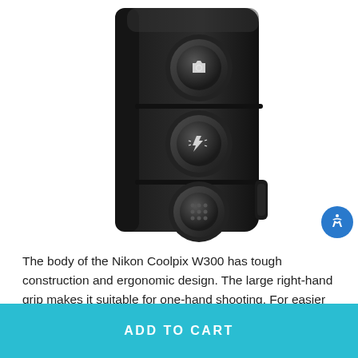[Figure (photo): Close-up photo of the side/back of a black Nikon Coolpix W300 camera showing three circular buttons/controls on a dark textured body. The top button has a camera/playback icon, the middle has a flash/light icon, and the bottom is a round speaker grille.]
The body of the Nikon Coolpix W300 has tough construction and ergonomic design. The large right-hand grip makes it suitable for one-hand shooting. For easier viewing in bright conditions, the rear 3.0" 921k-dot LCD monitor possesses an
ADD TO CART